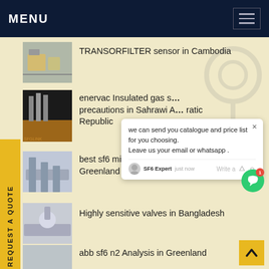MENU
TRANSORFILTER sensor in Cambodia
enervac Insulated gas s... precautions in Sahrawi A... ratic Republic
best sf6 mix End of L... S... Greenland
Highly sensitive valves in Bangladesh
abb sf6 n2 Analysis in Greenland
Advantages of sulfur hexafluoride